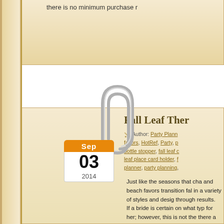there is no minimum purchase r...
[Figure (illustration): A paperclip illustration overlapping a calendar date badge showing Sep 03 2014]
Fall Leaf Ther...
Author: Party Plann... favors, HotRef, Party, p... bottle stopper, fall leaf c... leaf place card holder, f... planner, party planning,...
Just like the seasons that cha... and beach favors transition fal... in a variety of styles and desig... through results.
If a bride is certain on what typ... for her; however, this is not the... there a few ways to narrow do... style and favor designer. This ... favor.